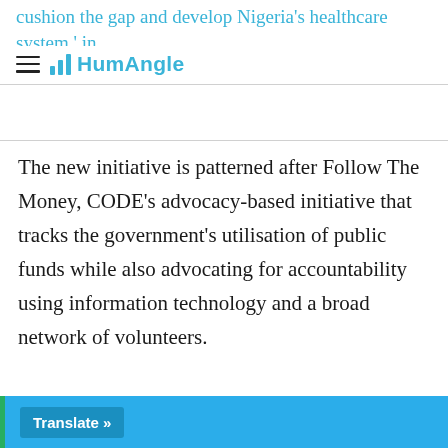cushion the gap and develop Nigeria's healthcare system.' in
[Figure (logo): HumAngle logo with bar chart icon and text]
The new initiative is patterned after Follow The Money, CODE's advocacy-based initiative that tracks the government's utilisation of public funds while also advocating for accountability using information technology and a broad network of volunteers.
Support Our Journalism
There are millions of ordinary people affected by conflict in Africa whose stories are missing in the
those challenging and under-reported stories, hoping
those affected by the conflict will find th